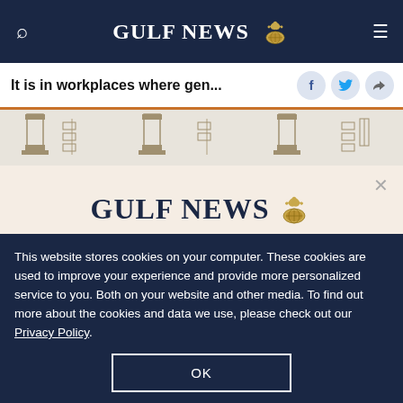GULF NEWS
It is in workplaces where gen...
[Figure (illustration): Egyptian hieroglyphic column decorative strip]
GULF NEWS — A special offer for our readers
Get the two years All-Access subscription now
This website stores cookies on your computer. These cookies are used to improve your experience and provide more personalized service to you. Both on your website and other media. To find out more about the cookies and data we use, please check out our Privacy Policy.
OK